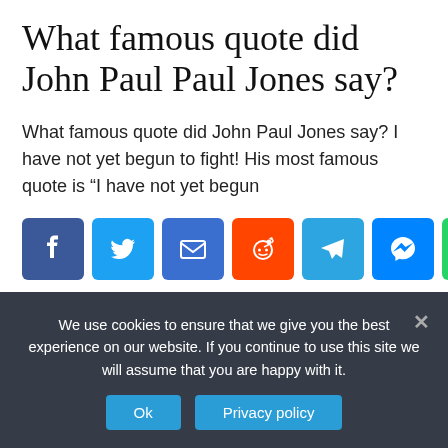What famous quote did John Paul Jones say?
What famous quote did John Paul Jones say? I have not yet begun to fight! His most famous quote is “I have not yet begun
[Figure (infographic): Row of social media share buttons: Facebook, Twitter, Email, Reddit, Telegram, Messenger, WhatsApp, Share]
Read More
We use cookies to ensure that we give you the best experience on our website. If you continue to use this site we will assume that you are happy with it.
Ok   Privacy policy